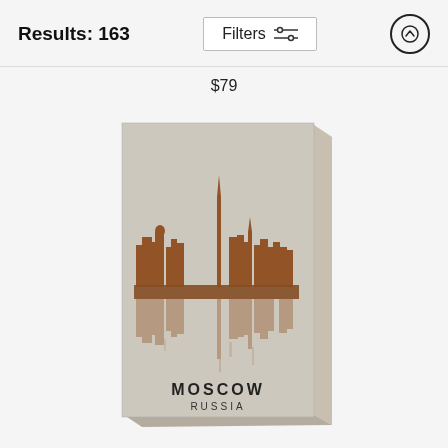Results: 163
Filters
$79
[Figure (illustration): Canvas print of Moscow Russia skyline in rust/brown tones on a textured grey background. The skyline shows the Moscow cityscape silhouette with reflection, labeled MOSCOW RUSSIA at the bottom. The canvas is shown in 3D perspective with a visible side edge.]